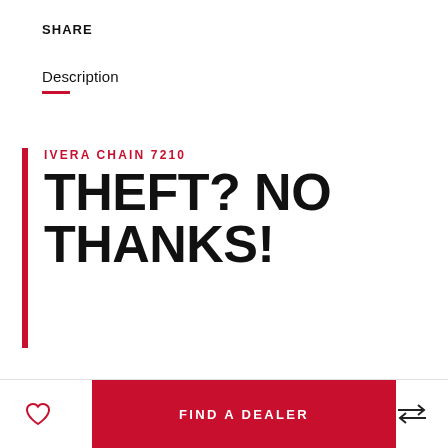SHARE
Description
IVERA CHAIN 7210
THEFT? NO THANKS!
If you want to enjoy your favourite bike for a long time, don't take any risks. Protect your bike with the right chain lock
FIND A DEALER